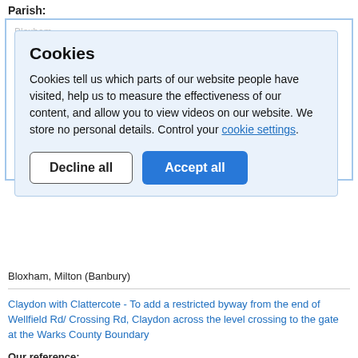Parish:
Bloxham
Bloxham & ... Grove Rd a...
Our reference:
03609
Applicant name(s):
Mr J Smithson, ... Bloxham ... 15 4NJ
Parish:
[Figure (screenshot): Cookie consent dialog overlay with title 'Cookies', body text explaining cookie usage, a 'Decline all' button and an 'Accept all' button]
Bloxham, Milton (Banbury)
Claydon with Clattercote - To add a restricted byway from the end of Wellfield Rd/ Crossing Rd, Claydon across the level crossing to the gate at the Warks County Boundary
Our reference: